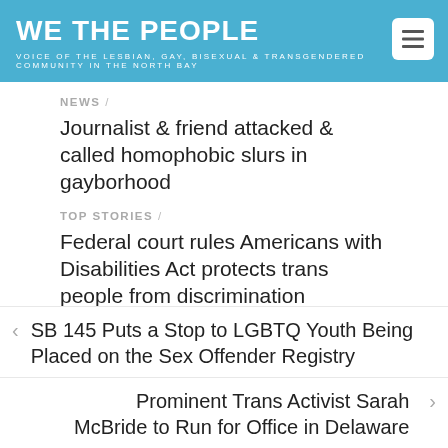WE THE PEOPLE
VOICE OF THE LESBIAN, GAY, BISEXUAL & TRANSGENDERED COMMUNITY IN THE NORTH BAY
NEWS /
Journalist & friend attacked & called homophobic slurs in gayborhood
TOP STORIES /
Federal court rules Americans with Disabilities Act protects trans people from discrimination
< SB 145 Puts a Stop to LGBTQ Youth Being Placed on the Sex Offender Registry
Prominent Trans Activist Sarah McBride to Run for Office in Delaware >